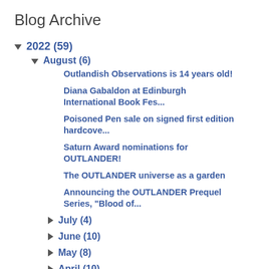Blog Archive
2022 (59)
August (6)
Outlandish Observations is 14 years old!
Diana Gabaldon at Edinburgh International Book Fes...
Poisoned Pen sale on signed first edition hardcove...
Saturn Award nominations for OUTLANDER!
The OUTLANDER universe as a garden
Announcing the OUTLANDER Prequel Series, "Blood of...
July (4)
June (10)
May (8)
April (10)